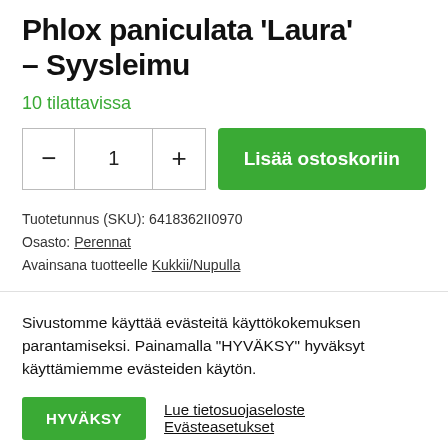Phlox paniculata 'Laura' – Syysleimu
10 tilattavissa
- 1 + Lisää ostoskoriin
Tuotetunnus (SKU): 6418362II0970
Osasto: Perennat
Avainsana tuotteelle Kukkii/Nupulla
Sivustomme käyttää evästeitä käyttökokemuksen parantamiseksi. Painamalla "HYVÄKSY" hyväksyt käyttämiemme evästeiden käytön.
HYVÄKSY   Lue tietosuojaseloste   Evästeasetukset